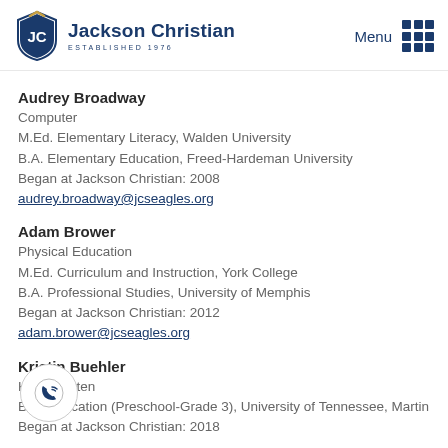[Figure (logo): Jackson Christian school logo with shield icon and text 'Jackson Christian ESTABLISHED 1976']
Audrey Broadway
Computer
M.Ed. Elementary Literacy, Walden University
B.A. Elementary Education, Freed-Hardeman University
Began at Jackson Christian: 2008
audrey.broadway@jcseagles.org
Adam Brower
Physical Education
M.Ed. Curriculum and Instruction, York College
B.A. Professional Studies, University of Memphis
Began at Jackson Christian: 2012
adam.brower@jcseagles.org
Kristin Buehler
Kindergarten
B.S. Education (Preschool-Grade 3), University of Tennessee, Martin
Began at Jackson Christian: 2018